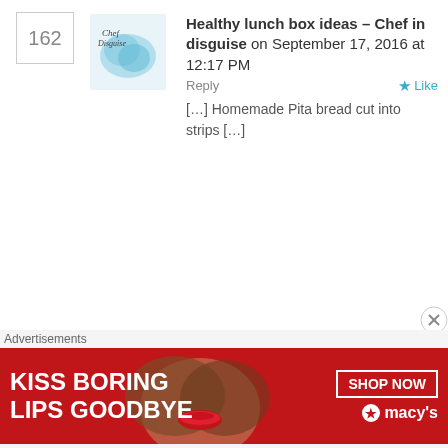162
[Figure (logo): Chef in Disguise blog logo – cursive text over a blue-teal watercolor illustration]
Healthy lunch box ideas – Chef in disguise on September 17, 2016 at 12:17 PM   Reply  ★ Like
[…] Homemade Pita bread cut into strips […]
163
[Figure (illustration): Teal geometric diamond/star avatar icon with four white square dots in the centre]
Emma on September 23, 2016 at 1:41 PM   Reply  ★ Like
Sawsan, these are amazing and puff up beautifully every time! I do have the same problem I see in the comments some others have had – top of pita is super thin, bottom is quite thick. I already bake in the middle of the oven
Advertisements
[Figure (photo): Macy's advertisement banner: red background with a woman's face, text 'KISS BORING LIPS GOODBYE', and 'SHOP NOW ★ macy's' button]